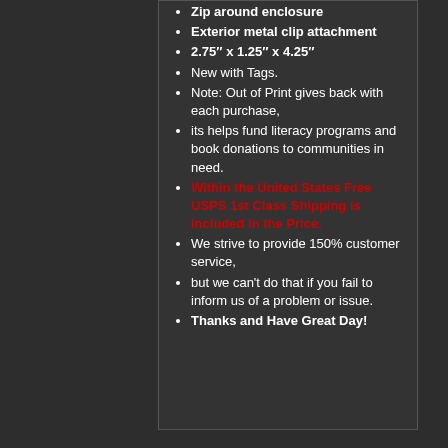Zip around enclosure
Exterior metal clip attachment
2.75" x 1.25" x 4.25"
New with Tags.
Note: Out of Print gives back with each purchase,
its helps fund literacy programs and book donations to communities in need.
Within the United States Free USPS 1st Class Shipping is included in the Price.
We strive to provide 150% customer service,
but we can't do that if you fail to inform us of a problem or issue.
Thanks and Have Great Day!